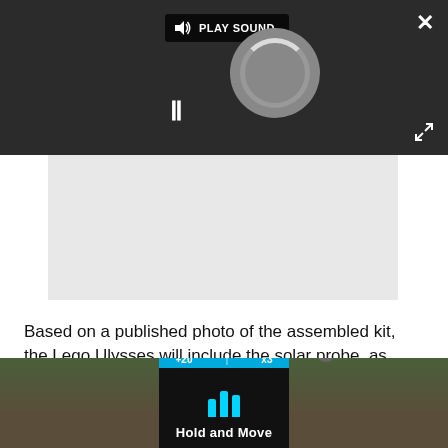[Figure (screenshot): Dark video player overlay with a 'PLAY SOUND' button, a loading spinner circle, a pause button (II), a close X button top-right, and an expand icon lower-right]
[Figure (photo): Light gray image placeholder / embedded photo area]
Based on a published photo of the assembled kit, the Lego Ulysses will include the solar probe, as well as the Inertial Upper Stage (IUS) and Payload Assist Module-S (PAM-S) that were attached to the sun-bound spacecraft when it was deployed from the
[Figure (screenshot): Bottom overlay widget showing a photo of trees and a dark center panel with cyan bar chart icon and 'Hold and Move' label, with a blue strip showing '+20' and 'x3' at the top]